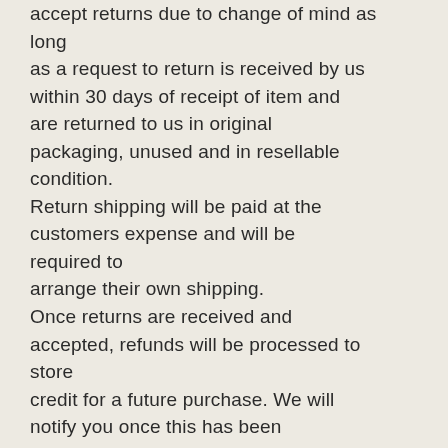accept returns due to change of mind as long as a request to return is received by us within 30 days of receipt of item and are returned to us in original packaging, unused and in resellable condition. Return shipping will be paid at the customers expense and will be required to arrange their own shipping. Once returns are received and accepted, refunds will be processed to store credit for a future purchase. We will notify you once this has been completed through email. (Reno Elks Lodge #597) will refund the value of the goods returned but will NOT refund the value of any shipping paid.
3.2 Warranty Returns
Reno Elks Lodge #597 will happily